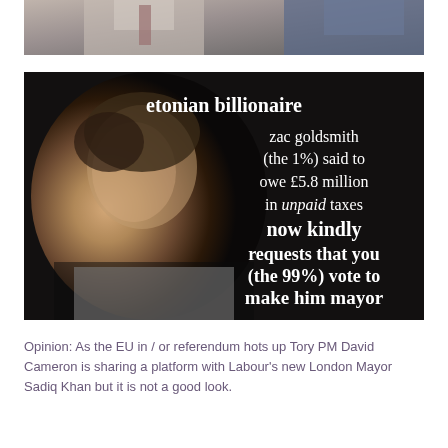[Figure (photo): Top portion of a photo showing two men in suits, partially cropped]
[Figure (infographic): Photo of Zac Goldsmith in a tuxedo with overlaid white bold text reading: 'etonian billionaire zac goldsmith (the 1%) said to owe £5.8 million in unpaid taxes now kindly requests that you (the 99%) vote to make him mayor']
Opinion: As the EU in / or referendum hots up Tory PM David Cameron is sharing a platform with Labour's new London Mayor Sadiq Khan but it is not a good look.